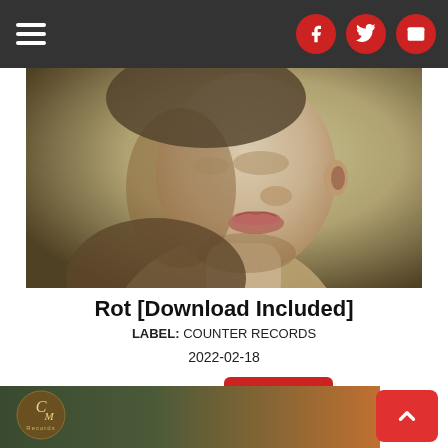Navigation bar with hamburger menu and social icons (Facebook, Twitter, Email)
[Figure (photo): Close-up portrait painting/illustration of a person's face and neck, tilted, with a vintage muted green and brown color palette, grainy texture]
Rot [Download Included]
LABEL: COUNTER RECORDS
2022-02-18
Vinyl: $28.98  + BUY
[Figure (logo): CM Records logo in bottom footer bar on dark green/brown gradient background]